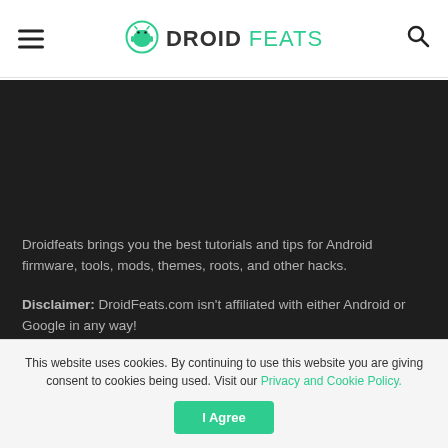DROIDFEATS
[Figure (screenshot): Dark section of DroidFeats website with about text and disclaimer]
Droidfeats brings you the best tutorials and tips for Android firmware, tools, mods, themes, roots, and other hacks.
Disclaimer: DroidFeats.com isn't affiliated with either Android or Google in any way! LEARN MORE »
Tips
This website uses cookies. By continuing to use this website you are giving consent to cookies being used. Visit our Privacy and Cookie Policy.